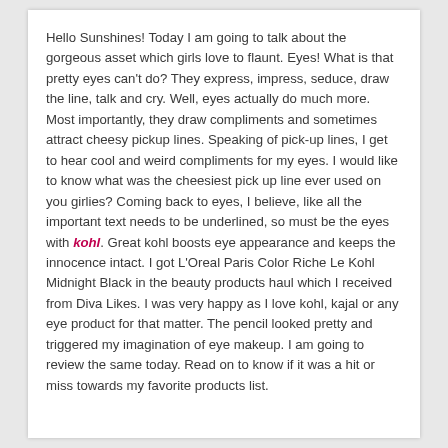Hello Sunshines! Today I am going to talk about the gorgeous asset which girls love to flaunt. Eyes! What is that pretty eyes can't do? They express, impress, seduce, draw the line, talk and cry. Well, eyes actually do much more. Most importantly, they draw compliments and sometimes attract cheesy pickup lines. Speaking of pick-up lines, I get to hear cool and weird compliments for my eyes. I would like to know what was the cheesiest pick up line ever used on you girlies? Coming back to eyes, I believe, like all the important text needs to be underlined, so must be the eyes with kohl. Great kohl boosts eye appearance and keeps the innocence intact. I got L'Oreal Paris Color Riche Le Kohl Midnight Black in the beauty products haul which I received from Diva Likes. I was very happy as I love kohl, kajal or any eye product for that matter. The pencil looked pretty and triggered my imagination of eye makeup. I am going to review the same today. Read on to know if it was a hit or miss towards my favorite products list.